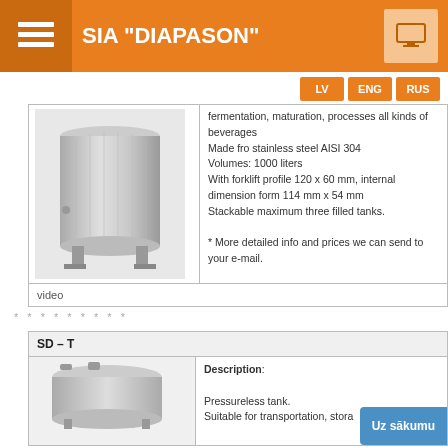SIA "DIAPASON"
LV  ENG  RUS
[Figure (photo): Stainless steel fermentation/storage tank on legs]
fermentation, maturation, processes all kinds of beverages
Made fro stainless steel AISI 304
Volumes: 1000 liters
With forklift profile 120 x 60 mm, internal dimension form 114 mm x 54 mm
Stackable maximum three filled tanks.

* More detailed info and prices we can send to your e-mail.
video
* * * * * * * * *
SD – T
Description:
Pressureless tank.
Suitable for transportation, stora...
[Figure (photo): Stainless steel pressureless tank being shown from above]